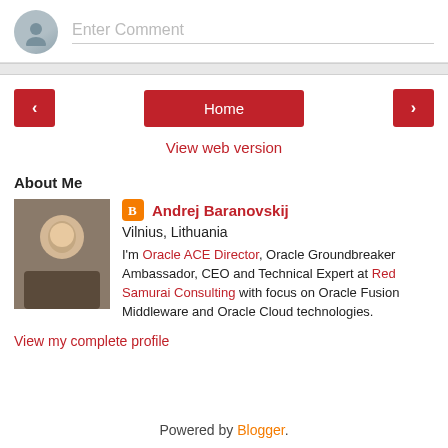Enter Comment
Home
View web version
About Me
Andrej Baranovskij
Vilnius, Lithuania
I'm Oracle ACE Director, Oracle Groundbreaker Ambassador, CEO and Technical Expert at Red Samurai Consulting with focus on Oracle Fusion Middleware and Oracle Cloud technologies.
View my complete profile
Powered by Blogger.